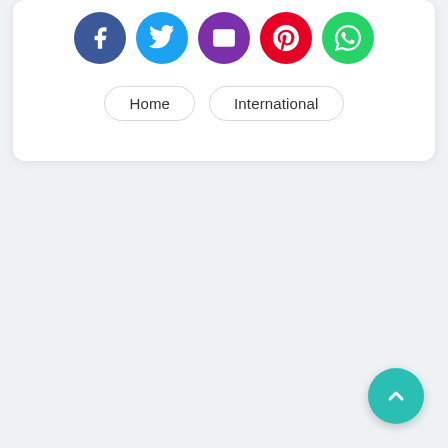[Figure (infographic): Row of five circular social share buttons: Facebook (blue), Twitter (light blue), Email (purple), Pinterest (red), WhatsApp (green)]
Home | International
[Figure (infographic): Teal circular back-to-top button with upward chevron arrow in bottom right corner]